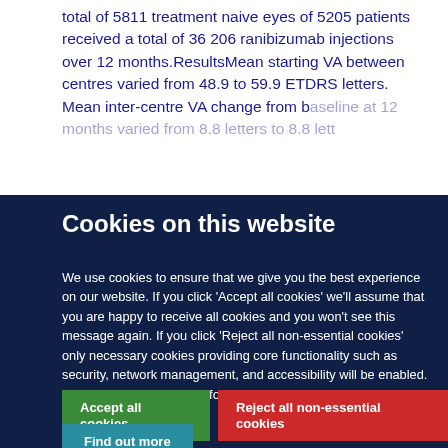total of 5811 treatment naive eyes of 5205 patients received a total of 36 206 ranibizumab injections over 12 months.ResultsMean starting VA between centres varied from 48.9 to 59.9 ETDRS letters. Mean inter-centre VA change from baseline at 12 months varied from 8.8 letters to 8.8 lett...
Cookies on this website
We use cookies to ensure that we give you the best experience on our website. If you click 'Accept all cookies' we'll assume that you are happy to receive all cookies and you won't see this message again. If you click 'Reject all non-essential cookies' only necessary cookies providing core functionality such as security, network management, and accessibility will be enabled. Click 'Find out more' for information on how to change your cookie settings.